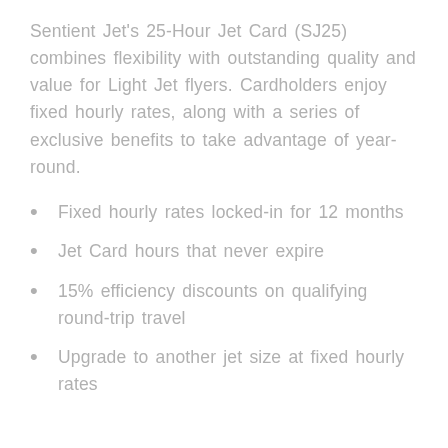Sentient Jet's 25-Hour Jet Card (SJ25) combines flexibility with outstanding quality and value for Light Jet flyers. Cardholders enjoy fixed hourly rates, along with a series of exclusive benefits to take advantage of year-round.
Fixed hourly rates locked-in for 12 months
Jet Card hours that never expire
15% efficiency discounts on qualifying round-trip travel
Upgrade to another jet size at fixed hourly rates